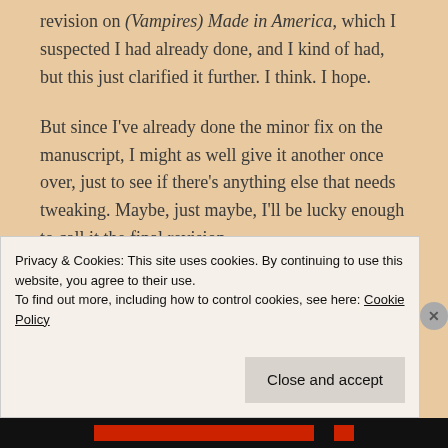revision on (Vampires) Made in America, which I suspected I had already done, and I kind of had, but this just clarified it further. I think. I hope.
But since I've already done the minor fix on the manuscript, I might as well give it another once over, just to see if there's anything else that needs tweaking. Maybe, just maybe, I'll be lucky enough to call it the final revision.
Privacy & Cookies: This site uses cookies. By continuing to use this website, you agree to their use.
To find out more, including how to control cookies, see here: Cookie Policy
Close and accept